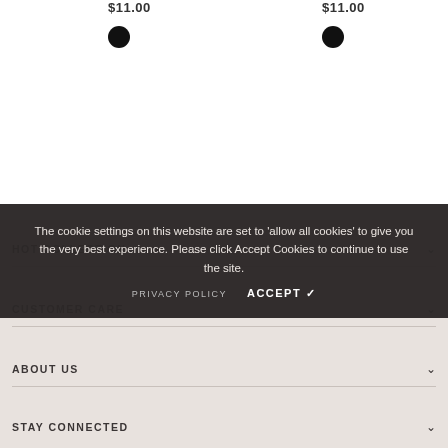$11.00
$11.00
[Figure (other): Black color swatch circle (left product)]
[Figure (other): Black color swatch circle (right product)]
HOT COLLECTION
CUSTOMER CARE
ABOUT US
STAY CONNECTED
The cookie settings on this website are set to 'allow all cookies' to give you the very best experience. Please click Accept Cookies to continue to use the site.
PRIVACY POLICY
ACCEPT ✔